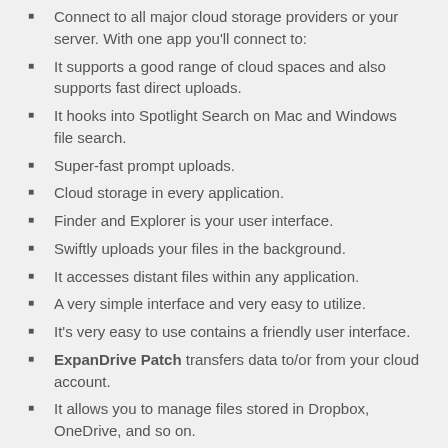Connect to all major cloud storage providers or your server. With one app you'll connect to:
It supports a good range of cloud spaces and also supports fast direct uploads.
It hooks into Spotlight Search on Mac and Windows file search.
Super-fast prompt uploads.
Cloud storage in every application.
Finder and Explorer is your user interface.
Swiftly uploads your files in the background.
It accesses distant files within any application.
A very simple interface and very easy to utilize.
It's very easy to use contains a friendly user interface.
ExpanDrive Patch transfers data to/or from your cloud account.
It allows you to manage files stored in Dropbox, OneDrive, and so on.
What's New in?